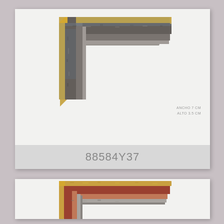[Figure (photo): Top card showing corner detail of a decorative picture frame with dark brown/grey distressed finish and gold inner edge, photographed against white background. Text in bottom right reads ANCHO 7 CM / ALTO 3.5 CM. Product code 88584Y37 shown in grey label bar at bottom of card.]
88584Y37
[Figure (photo): Bottom card (partially visible) showing corner detail of a decorative picture frame with gold outer edge, red/brown middle section, and grey inner section with distressed finish.]